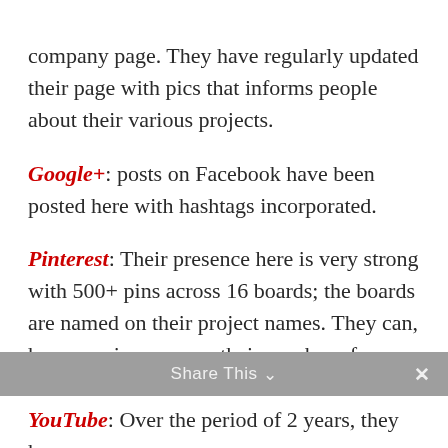company page. They have regularly updated their page with pics that informs people about their various projects.
Google+: posts on Facebook have been posted here with hashtags incorporated.
Pinterest: Their presence here is very strong with 500+ pins across 16 boards; the boards are named on their project names. They can, however, improve on their number of followers. They currently have one-fifth of the number of people that they are following.
Share This ∨  ×
YouTube: Over the period of 2 years, they have